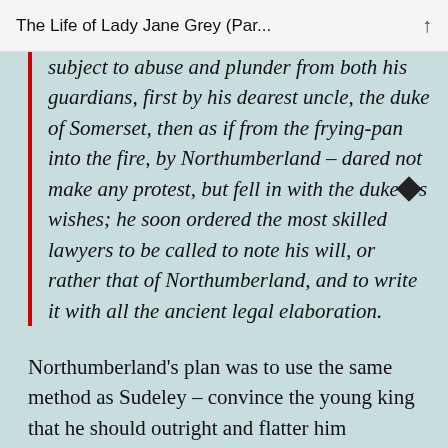The Life of Lady Jane Grey (Par...
subject to abuse and plunder from both his guardians, first by his dearest uncle, the duke of Somerset, then as if from the frying-pan into the fire, by Northumberland – dared not make any protest, but fell in with the duke’s wishes; he soon ordered the most skilled lawyers to be called to note his will, or rather that of Northumberland, and to write it with all the ancient legal elaboration.
Northumberland’s plan was to use the same method as Sudeley – convince the young king that he should outright and flatter him